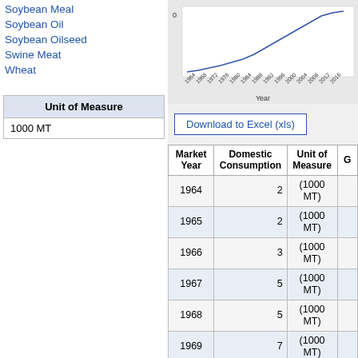Soybean Meal
Soybean Oil
Soybean Oilseed
Swine Meat
Wheat
| Unit of Measure |
| --- |
| 1000 MT |
[Figure (line-chart): Line chart showing data over years 1964-2016, x-axis labeled Year]
Download to Excel (xls)
| Market Year | Domestic Consumption | Unit of Measure | G |
| --- | --- | --- | --- |
| 1964 | 2 | (1000 MT) |  |
| 1965 | 2 | (1000 MT) |  |
| 1966 | 3 | (1000 MT) |  |
| 1967 | 5 | (1000 MT) |  |
| 1968 | 5 | (1000 MT) |  |
| 1969 | 7 | (1000 MT) |  |
| 1970 | 7 | (1000 MT) |  |
| 1971 | 9 | (1000 MT) |  |